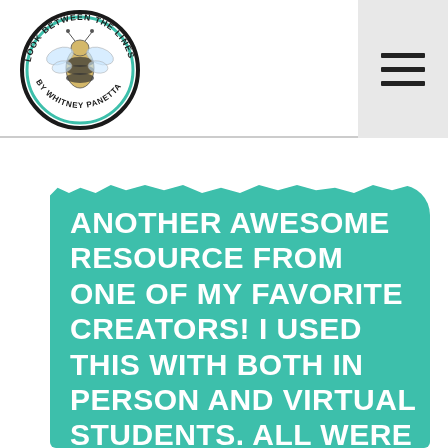[Figure (logo): Circular logo reading 'LOOK BETWEEN THE LINES BY WHITNEY PANETTA' with a bee illustration in the center, surrounded by a black and teal circular border]
[Figure (other): Hamburger menu icon with three horizontal black lines on a light grey background]
ANOTHER AWESOME RESOURCE FROM ONE OF MY FAVORITE CREATORS! I USED THIS WITH BOTH IN PERSON AND VIRTUAL STUDENTS. ALL WERE